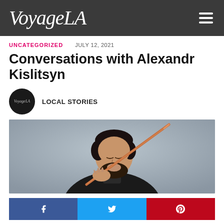VoyageLA
UNCATEGORIZED   JULY 12, 2021
Conversations with Alexandr Kislitsyn
LOCAL STORIES
[Figure (photo): Man with dark hair and beard playing violin, holding bow up to face, grey background]
Facebook, Twitter, Pinterest social share buttons